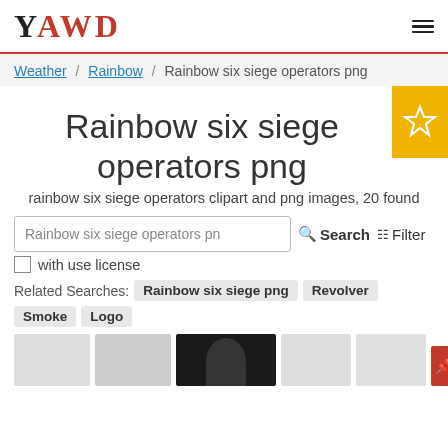YAWD
Weather / Rainbow / Rainbow six siege operators png
Rainbow six siege operators png
rainbow six siege operators clipart and png images, 20 found
Rainbow six siege operators pn
Search   Filter
with use license
Related Searches: Rainbow six siege png  Revolver  Smoke  Logo
[Figure (screenshot): Thumbnail images row at bottom of page, including a dark image with a figure and a red pin button]